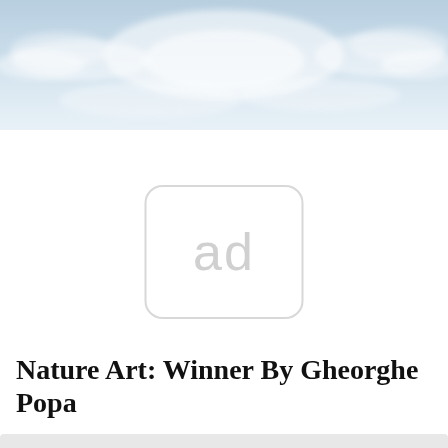[Figure (photo): Panoramic sky photograph showing soft blue sky with white clouds, banner at top of page]
[Figure (other): Advertisement placeholder box with rounded corners showing 'ad' text in light gray]
Nature Art: Winner By Gheorghe Popa